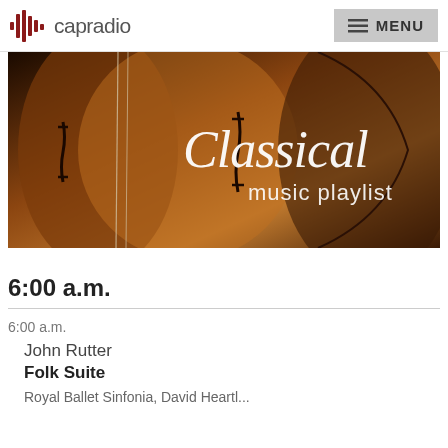capradio  MENU
[Figure (photo): Classical music playlist banner image showing a close-up of a cello with the text 'Classical music playlist' overlaid in white script font on a dark brown background]
6:00 a.m.
6:00 a.m.
John Rutter
Folk Suite
Royal Ballet Sinfonia, David Heartl...